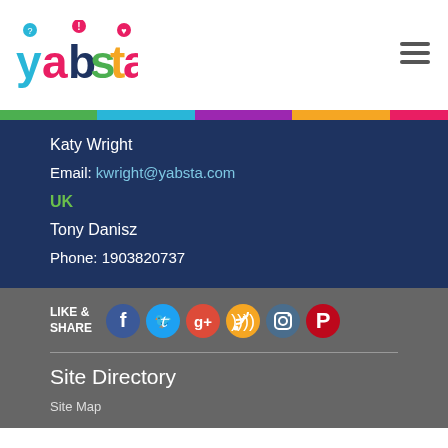[Figure (logo): Yabsta logo with colorful letters and map pin icons]
Katy Wright
Email: kwright@yabsta.com
UK
Tony Danisz
Phone: 1903820737
LIKE & SHARE
[Figure (infographic): Social media icons: Facebook, Twitter, Google+, RSS, Instagram, Pinterest]
Site Directory
Site Map